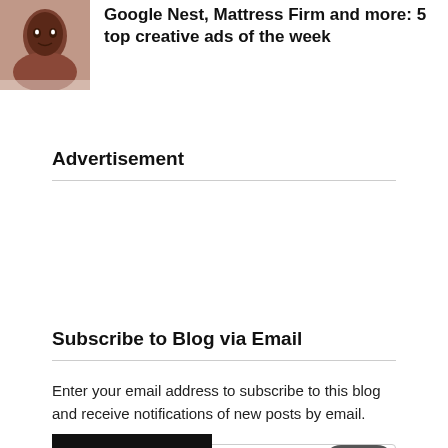[Figure (photo): Thumbnail photo of a person's face, dark skin tone, close-up portrait]
Google Nest, Mattress Firm and more: 5 top creative ads of the week
Advertisement
Subscribe to Blog via Email
Enter your email address to subscribe to this blog and receive notifications of new posts by email.
Email Address